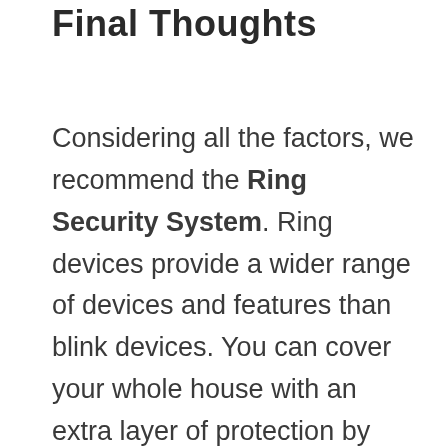Final Thoughts
Considering all the factors, we recommend the Ring Security System. Ring devices provide a wider range of devices and features than blink devices. You can cover your whole house with an extra layer of protection by using the ring security system. The company offers 24/7 professional monitoring with home